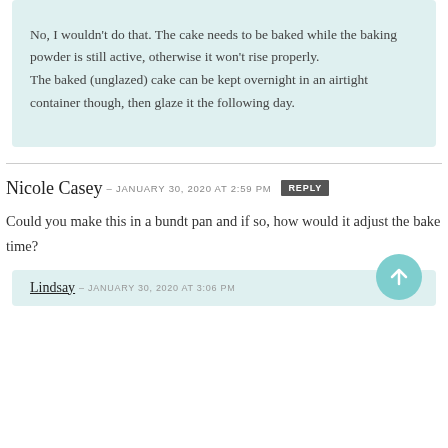No, I wouldn't do that. The cake needs to be baked while the baking powder is still active, otherwise it won't rise properly. The baked (unglazed) cake can be kept overnight in an airtight container though, then glaze it the following day.
Nicole Casey – JANUARY 30, 2020 at 2:59 PM  REPLY
Could you make this in a bundt pan and if so, how would it adjust the bake time?
Lindsay – JANUARY 30, 2020 at 3:06 PM